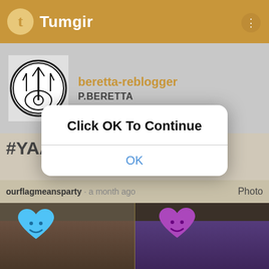Tumgir
beretta-reblogger
P.BERETTA
#YAAASSS
ourflagmeansparty · a month ago · Photo
[Figure (screenshot): Modal dialog overlay on a Tumgir (Tumblr) app screenshot showing 'Click OK To Continue' with an OK button, over a post by beretta-reblogger with hashtag #YAAASSS and two mirror selfie photos with heart emoji face overlays (blue heart left, purple heart right)]